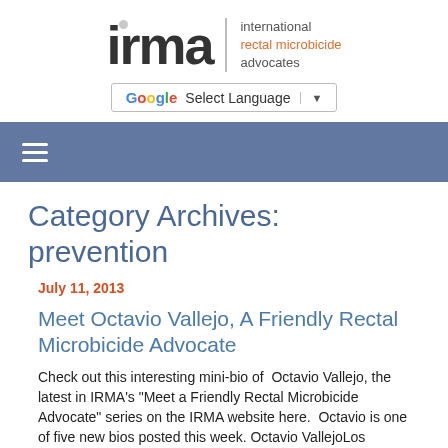[Figure (logo): IRMA logo: large 'irma' text with a dot above the 'i', vertical divider, text 'international rectal microbicide advocates' with 'rectal microbicide' in orange]
[Figure (screenshot): Google Translate widget: 'Select Language' dropdown with Google G logo and dropdown arrow]
[Figure (other): Navigation bar with hamburger menu icon (three horizontal white lines) on blue-gray background]
Category Archives: prevention
July 11, 2013
Meet Octavio Vallejo, A Friendly Rectal Microbicide Advocate
Check out this interesting mini-bio of  Octavio Vallejo, the latest in IRMA's "Meet a Friendly Rectal Microbicide Advocate" series on the IRMA website here.  Octavio is one of five new bios posted this week. Octavio VallejoLos Angeles, California, USA Octavio Vallejo has been working in the HIV prevention field for...